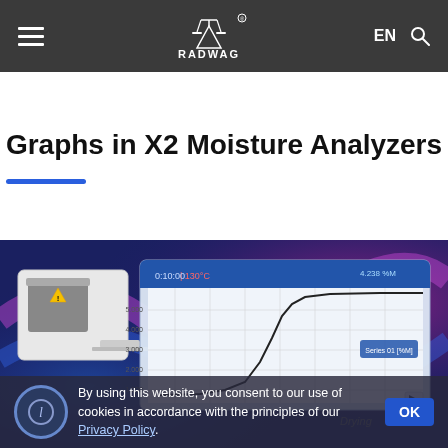RADWAG — EN [navigation header with hamburger menu and search icon]
Graphs in X2 Moisture Analyzers
[Figure (photo): Photo of a RADWAG X2 moisture analyzer device displayed on a colorful blue/purple/pink background, showing a screen with graph/chart output of a drying curve.]
By using this website, you consent to our use of cookies in accordance with the principles of our Privacy Policy.